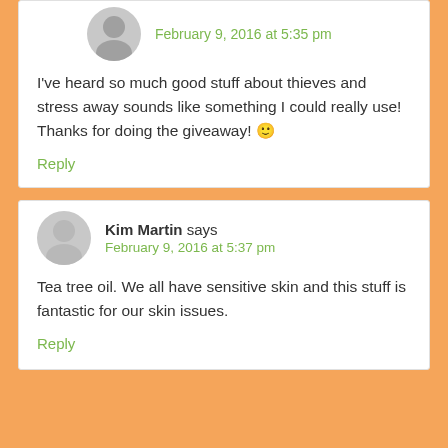February 9, 2016 at 5:35 pm
I've heard so much good stuff about thieves and stress away sounds like something I could really use! Thanks for doing the giveaway! 🙂
Reply
Kim Martin says
February 9, 2016 at 5:37 pm
Tea tree oil. We all have sensitive skin and this stuff is fantastic for our skin issues.
Reply